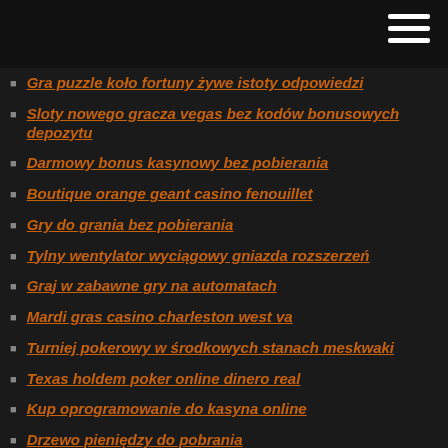Navigation menu header bar
Gra puzzle koło fortuny żywe istoty odpowiedzi
Sloty nowego gracza vegas bez kodów bonusowych depozytu
Darmowy bonus kasynowy bez pobierania
Boutique orange geant casino fenouillet
Gry do grania bez pobierania
Tylny wentylator wyciągowy gniazda rozszerzeń
Graj w zabawne gry na automatach
Mardi gras casino charleston west va
Turniej pokerowy w środkowych stanach meskwaki
Texas holdem poker online dinero real
Kup oprogramowanie do kasyna online
Drzewo pieniędzy do pobrania
Darmowe automaty do gier w kasynie płonące